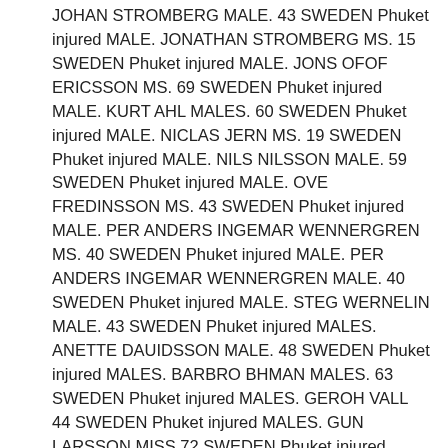JOHAN STROMBERG MALE. 43 SWEDEN Phuket injured MALE. JONATHAN STROMBERG MS. 15 SWEDEN Phuket injured MALE. JONS OFOF ERICSSON MS. 69 SWEDEN Phuket injured MALE. KURT AHL MALES. 60 SWEDEN Phuket injured MALE. NICLAS JERN MS. 19 SWEDEN Phuket injured MALE. NILS NILSSON MALE. 59 SWEDEN Phuket injured MALE. OVE FREDINSSON MS. 43 SWEDEN Phuket injured MALE. PER ANDERS INGEMAR WENNERGREN MS. 40 SWEDEN Phuket injured MALE. PER ANDERS INGEMAR WENNERGREN MALE. 40 SWEDEN Phuket injured MALE. STEG WERNELIN MALE. 43 SWEDEN Phuket injured MALES. ANETTE DAUIDSSON MALE. 48 SWEDEN Phuket injured MALES. BARBRO BHMAN MALES. 63 SWEDEN Phuket injured MALES. GEROH VALL 44 SWEDEN Phuket injured MALES. GUN LARSSON MISS 72 SWEDEN Phuket injured MALES. LENA CEBELIUS MALE. 43 SWEDEN Phuket injured